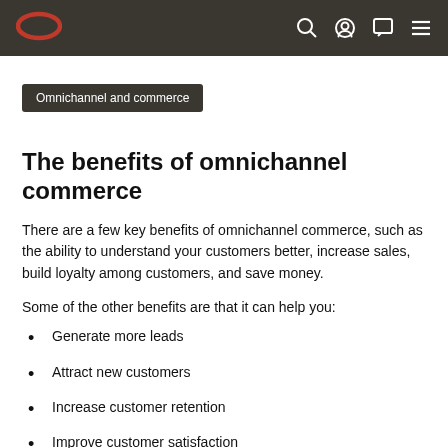Omnichannel and commerce [nav bar with Oracle logo and icons]
Omnichannel and commerce
The benefits of omnichannel commerce
There are a few key benefits of omnichannel commerce, such as the ability to understand your customers better, increase sales, build loyalty among customers, and save money.
Some of the other benefits are that it can help you:
Generate more leads
Attract new customers
Increase customer retention
Improve customer satisfaction